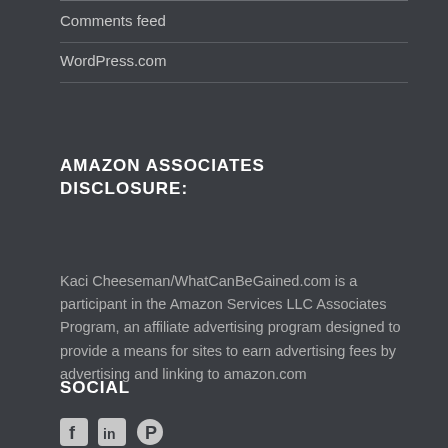Comments feed
WordPress.com
AMAZON ASSOCIATES DISCLOSURE:
Kaci Cheeseman/WhatCanBeGained.com is a participant in the Amazon Services LLC Associates Program, an affiliate advertising program designed to provide a means for sites to earn advertising fees by advertising and linking to amazon.com
SOCIAL